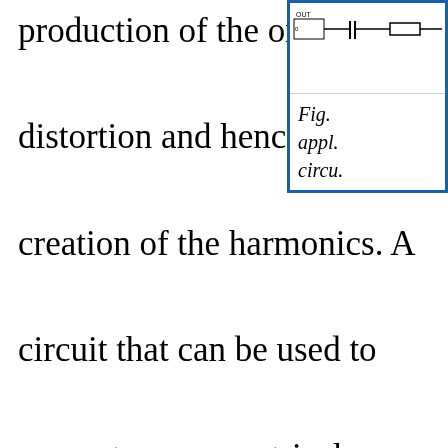production of the original distortion and hence the creation of the harmonics. A circuit that can be used to generate a symmetrical square wave or an asymmetrical rectangular w... The input is a sine wave of sufficient a... peak) to overdrive the first triode, yiel... the plate when the cathode resistor R...
[Figure (circuit-diagram): Partial circuit diagram showing a triode valve circuit with output label and components including resistors and capacitors, shown in a blue-bordered box]
Fig. appl. circu.